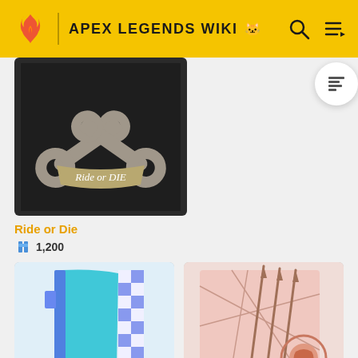APEX LEGENDS WIKI
[Figure (illustration): Apex Legends item: Ride or Die badge showing two crossed wrenches on a dark background with a banner reading 'Ride or Die']
Ride or Die
1,200
[Figure (illustration): Blue and cyan colored item with checkered pattern on the right edge - appears to be a banner or frame cosmetic]
[Figure (illustration): Pink/peach colored item with arrow and circular decorative pattern - appears to be a banner or frame cosmetic]